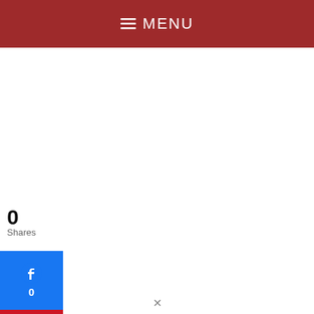☰ MENU
0
Shares
[Figure (other): Facebook share button showing count 0]
[Figure (other): Pinterest share button showing count 0]
hey are now an invasive species that is considered to be a serious threat to many native bird populations, especially those of cavity nesters like bluebirds and purple martins.